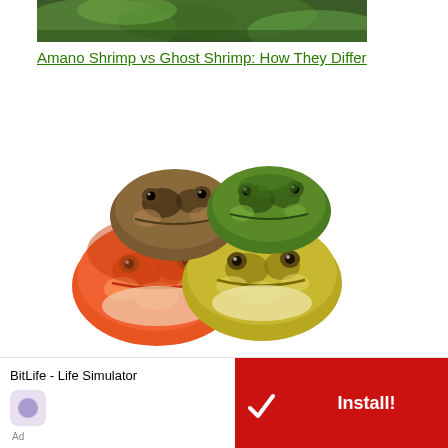[Figure (photo): Top portion of a nature/aquatic photo showing green foliage and dark background]
Amano Shrimp vs Ghost Shrimp: How They Differ
[Figure (photo): Four Pacman frogs (Ceratophrys) of different color morphs grouped together on white background: brown/patterned on top left, green on top right, orange/red patterned on bottom left, yellow/green on bottom right]
15 Pacman frog morphs and colors explained (With pictures)
[Figure (photo): Partial photo at bottom of page showing a gray/brown surface, partially overlaid by a video player with text 'No compatible source was found for this media.']
BitLife - Life Simulator
Ad
Install!